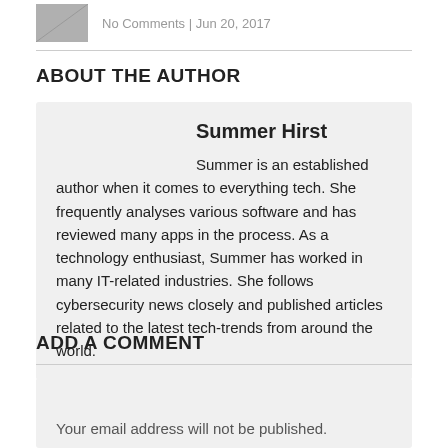No Comments | Jun 20, 2017
ABOUT THE AUTHOR
Summer Hirst
Summer is an established author when it comes to everything tech. She frequently analyses various software and has reviewed many apps in the process. As a technology enthusiast, Summer has worked in many IT-related industries. She follows cybersecurity news closely and published articles related to the latest tech-trends from around the world.
ADD A COMMENT
Your email address will not be published.